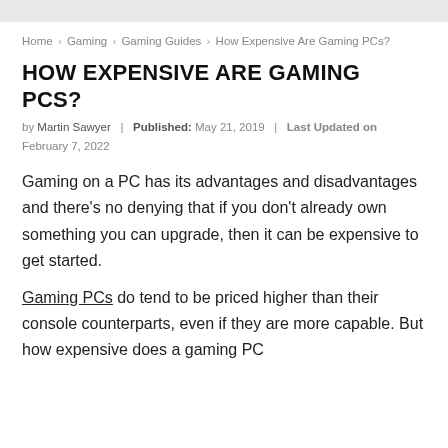Home > Gaming > Gaming Guides > How Expensive Are Gaming PCs?
HOW EXPENSIVE ARE GAMING PCS?
by Martin Sawyer | Published: May 21, 2019 | Last Updated on February 7, 2022
Gaming on a PC has its advantages and disadvantages and there’s no denying that if you don’t already own something you can upgrade, then it can be expensive to get started.
Gaming PCs do tend to be priced higher than their console counterparts, even if they are more capable. But how expensive does a gaming PC